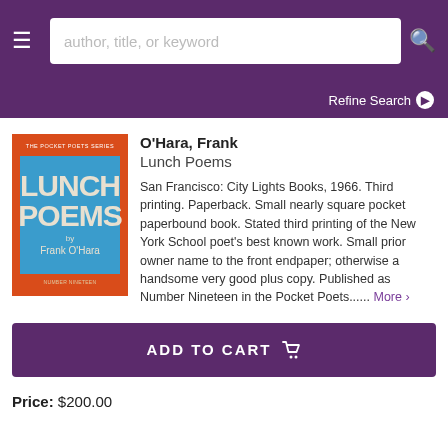author, title, or keyword
Refine Search
[Figure (photo): Book cover of Lunch Poems by Frank O'Hara, Pocket Poets Series Number Nineteen, with blue and orange/red design]
O'Hara, Frank
Lunch Poems
San Francisco: City Lights Books, 1966. Third printing. Paperback. Small nearly square pocket paperbound book. Stated third printing of the New York School poet's best known work. Small prior owner name to the front endpaper; otherwise a handsome very good plus copy. Published as Number Nineteen in the Pocket Poets...... More >
ADD TO CART
Price: $200.00